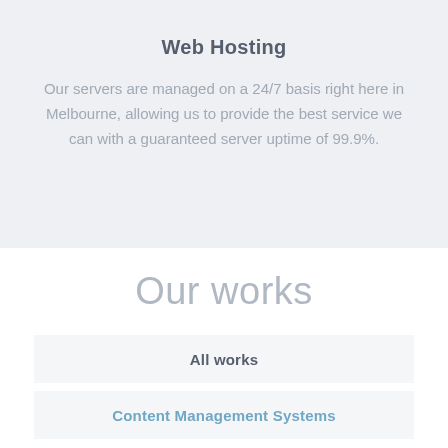Web Hosting
Our servers are managed on a 24/7 basis right here in Melbourne, allowing us to provide the best service we can with a guaranteed server uptime of 99.9%.
Our works
All works
Content Management Systems